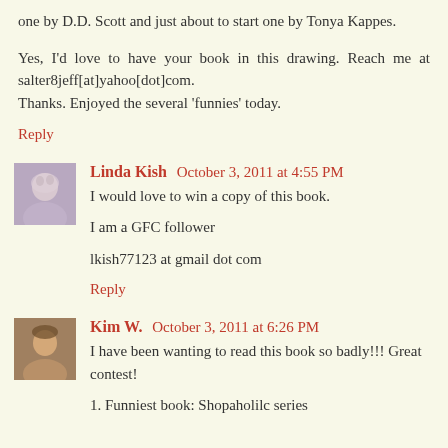one by D.D. Scott and just about to start one by Tonya Kappes.
Yes, I'd love to have your book in this drawing. Reach me at salter8jeff[at]yahoo[dot]com.
Thanks. Enjoyed the several 'funnies' today.
Reply
Linda Kish  October 3, 2011 at 4:55 PM
I would love to win a copy of this book.

I am a GFC follower

lkish77123 at gmail dot com
Reply
Kim W.  October 3, 2011 at 6:26 PM
I have been wanting to read this book so badly!!! Great contest!

1. Funniest book: Shopaholilc series